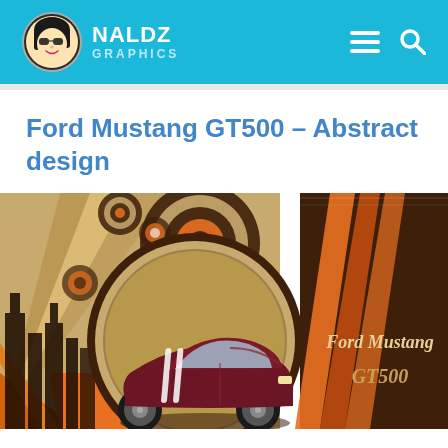NALDZ GRAPHICS
Ford Mustang GT500 – Abstract design
[Figure (illustration): Abstract graphic design featuring a dark red Ford Mustang GT500 sports car centered in a circular frame, surrounded by retro-style concentric circles and geometric shapes in orange, brown, and cream colors. Text reads 'Ford Mustang' and 'GT500' on the right side on a dark brown background panel. Left side shows orange and brown diagonal stripes with a city skyline silhouette.]